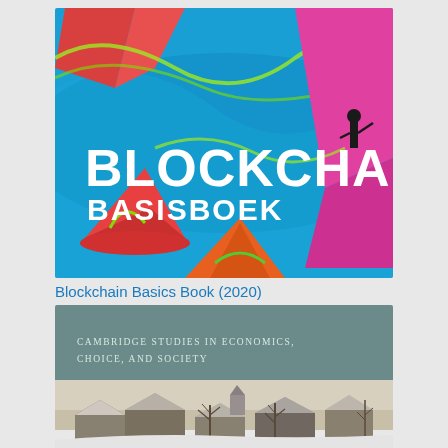[Figure (illustration): Book cover of 'Blockchain Basisboek' (2020) showing colorful boats on blue water with 'BLOCKCHAIN' in large white bold text and 'BASISBOEK' below it]
Blockchain Basics Book (2020)
[Figure (illustration): Book cover from Cambridge Studies in Economics, Choice, and Society series, showing a winter village scene painting (Bruegel-style) with snow-covered rooftops and bare trees, grey upper band with series title text]